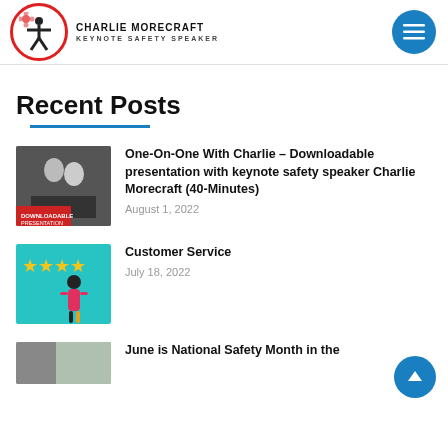CHARLIE MORECRAFT
KEYNOTE SAFETY SPEAKER
Recent Posts
[Figure (photo): Thumbnail image showing two people on a screen, with text overlay 'DOWNLOADABLE PRESENTATION']
One-On-One With Charlie – Downloadable presentation with keynote safety speaker Charlie Morecraft (40-Minutes)
August 1, 2022
[Figure (illustration): Thumbnail image of a person with star rating graphics on teal background]
Customer Service
July 18, 2022
[Figure (photo): Partial thumbnail image at bottom, partially visible]
June is National Safety Month in the